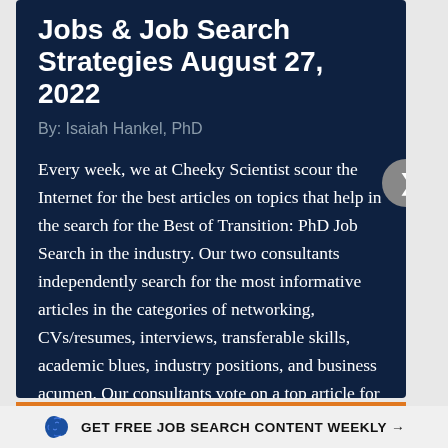Jobs & Job Search Strategies August 27, 2022
By: Isaiah Hankel, PhD
Every week, we at Cheeky Scientist scour the Internet for the best articles on topics that help in the search for the Best of Transition: PhD Job Search in the industry. Our two consultants independently search for the most informative articles in the categories of networking, CVs/resumes, interviews, transferable skills, academic blues, industry positions, and business acumen. Our consultants vote on a top article for each category and a top overall
GET FREE JOB SEARCH CONTENT WEEKLY →